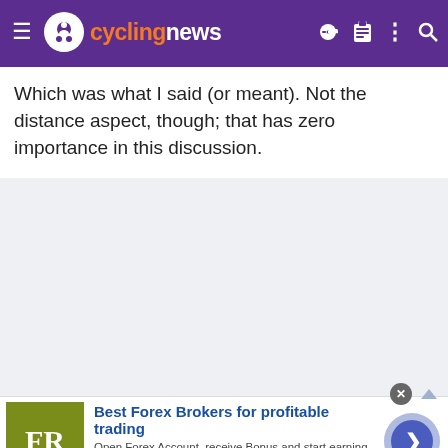cyclingnews
Which was what I said (or meant). Not the distance aspect, though; that has zero importance in this discussion.
[Figure (screenshot): Advertisement banner for Best Forex Brokers for profitable trading by forex-ratings.com with FR logo]
Best Forex Brokers for profitable trading
Open Forex Account, receive Bonus and start earning Now
forex-ratings.com